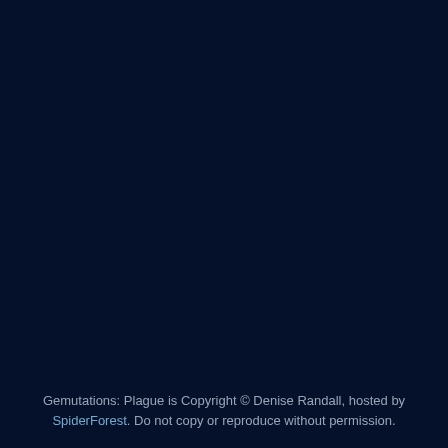Gemutations: Plague is Copyright © Denise Randall, hosted by SpiderForest. Do not copy or reproduce without permission.